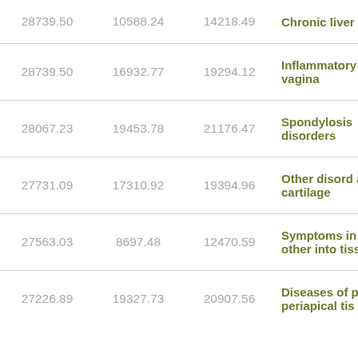| Col1 | Col2 | Col3 | Condition |
| --- | --- | --- | --- |
| 28739.50 | 10588.24 | 14218.49 | Chronic liver cirrhosis |
| 28739.50 | 16932.77 | 19294.12 | Inflammatory cervix, vagina |
| 28067.23 | 19453.78 | 21176.47 | Spondylosis disorders |
| 27731.09 | 17310.92 | 19394.96 | Other disorders and cartilage |
| 27563.03 | 8697.48 | 12470.59 | Symptoms in and other into tissue |
| 27226.89 | 19327.73 | 20907.56 | Diseases of p periapical tis |